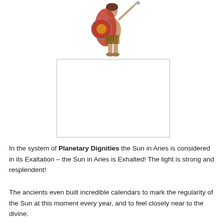[Figure (illustration): Illustration of a ancient Greek or Roman warrior in armor holding a spear and round shield with a red cloak]
[Figure (other): Empty white rectangle with a thin border, placeholder image area]
In the system of Planetary Dignities the Sun in Aries is considered in its Exaltation – the Sun in Aries is Exhalted! The light is strong and resplendent!
The ancients even built incredible calendars to mark the regularity of the Sun at this moment every year, and to feel closely near to the divine.